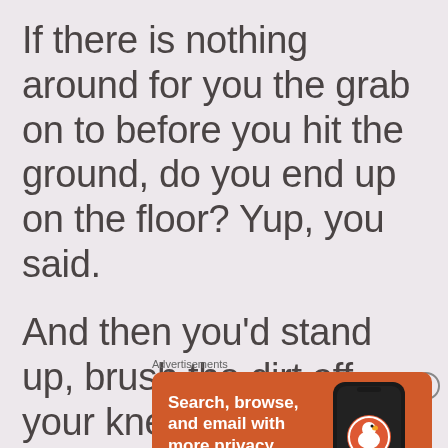If there is nothing around for you the grab on to before you hit the ground, do you end up on the floor? Yup, you said.
And then you’d stand up, brush the dirt off your knees
[Figure (screenshot): DuckDuckGo advertisement banner with orange background. Text reads: Search, browse, and email with more privacy. All in One Free App. Shows a phone with DuckDuckGo logo and branding.]